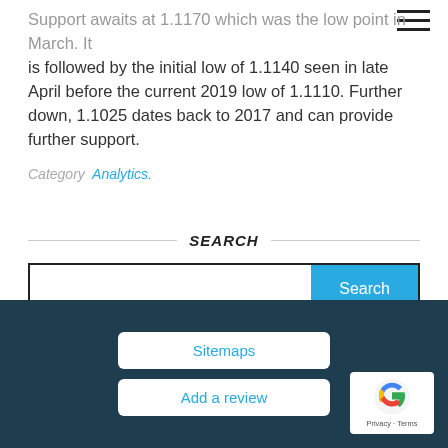Support awaits at 1.1170 which was the low point in March. It is followed by the initial low of 1.1140 seen in late April before the current 2019 low of 1.1110. Further down, 1.1025 dates back to 2017 and can provide further support.
Category: Analytics.
SEARCH
Source: www.forexcrunch.com
Sitemaps | Add a review